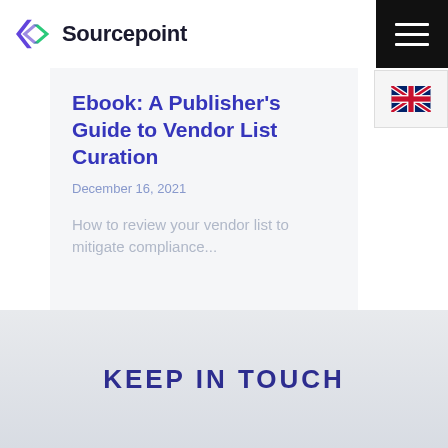Sourcepoint
Ebook: A Publisher's Guide to Vendor List Curation
December 16, 2021
How to review your vendor list to mitigate compliance...
KEEP IN TOUCH